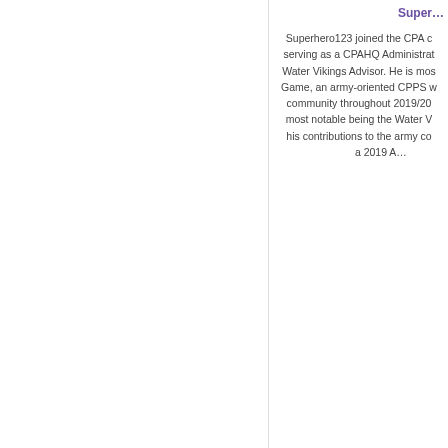Super...
Superhero123 joined the CPA c... serving as a CPAHQ Administrat... Water Vikings Advisor. He is most... Game, an army-oriented CPPS w... community throughout 2019/20... most notable being the Water V... his contributions to the army co... a 2019 A...
cparmyhq.com
Filed under: Back to the Dawn, Column, Histo...
Underground Mafias Army Ho... Comeback?
Posted on 29 May 2021 by df44
MITTENS, Undergrou... Hea... historical Underground Mafias Army... gaming organization. However, on M...
[Figure (illustration): MAP banner image with text CLICK HERE TO VIEW THE MAP in purple and white, with stylized book/card graphics in purple and gray colors]